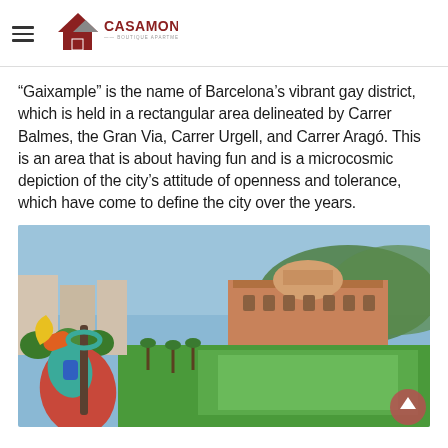CASAMONA
“Gaixample” is the name of Barcelona’s vibrant gay district, which is held in a rectangular area delineated by Carrer Balmes, the Gran Via, Carrer Urgell, and Carrer Aragó. This is an area that is about having fun and is a microcosmic depiction of the city’s attitude of openness and tolerance, which have come to define the city over the years.
[Figure (photo): Aerial view of Barcelona park with colorful Miró sculpture in foreground, green lawn and large historic building in background]